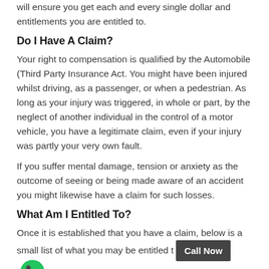will ensure you get each and every single dollar and entitlements you are entitled to.
Do I Have A Claim?
Your right to compensation is qualified by the Automobile (Third Party Insurance Act. You might have been injured whilst driving, as a passenger, or when a pedestrian. As long as your injury was triggered, in whole or part, by the neglect of another individual in the control of a motor vehicle, you have a legitimate claim, even if your injury was partly your very own fault.
If you suffer mental damage, tension or anxiety as the outcome of seeing or being made aware of an accident you might likewise have a claim for such losses.
What Am I Entitled To?
Once it is established that you have a claim, below is a small list of what you may be entitled to:
Past and future loss of earnings, medical costs, expense of